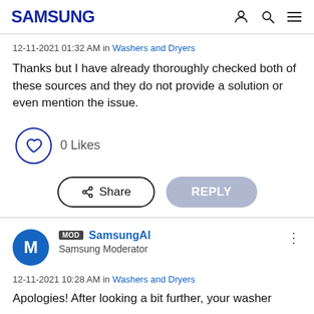SAMSUNG
12-11-2021 01:32 AM in Washers and Dryers
Thanks but I have already thoroughly checked both of these sources and they do not provide a solution or even mention the issue.
0 Likes
Share   REPLY
MOD SamsungAl
Samsung Moderator
12-11-2021 10:28 AM in Washers and Dryers
Apologies! After looking a bit further, your washer